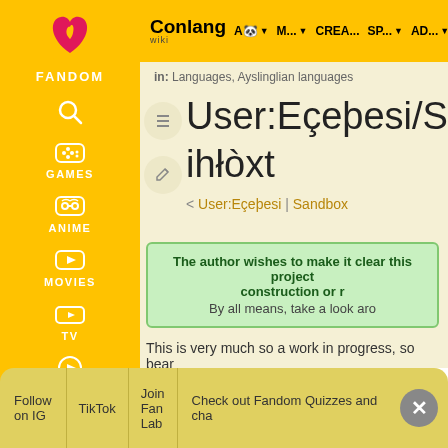Conlang Wiki  AA  M...  CREA...  SP...  AD...
in: Languages, Ayslinglian languages
User:Eçeþesi/Sandb ihłòxt
< User:Eçeþesi | Sandbox
The author wishes to make it clear this project construction or r By all means, take a look aro
This is very much so a work in progress, so bear
Follow on IG  TikTok  Join Fan Lab  Check out Fandom Quizzes and cha